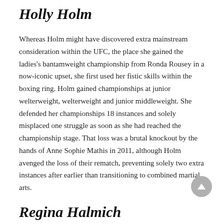Holly Holm
Whereas Holm might have discovered extra mainstream consideration within the UFC, the place she gained the ladies's bantamweight championship from Ronda Rousey in a now-iconic upset, she first used her fistic skills within the boxing ring. Holm gained championships at junior welterweight, welterweight and junior middleweight. She defended her championships 18 instances and solely misplaced one struggle as soon as she had reached the championship stage. That loss was a brutal knockout by the hands of Anne Sophie Mathis in 2011, although Holm avenged the loss of their rematch, preventing solely two extra instances after earlier than transitioning to combined martial arts.
Regina Halmich